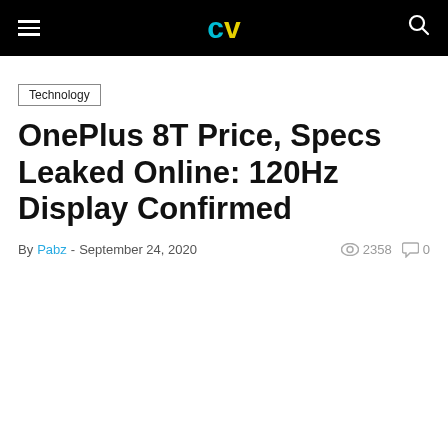CV (logo) — navigation bar
Technology
OnePlus 8T Price, Specs Leaked Online: 120Hz Display Confirmed
By Pabz - September 24, 2020  2358  0